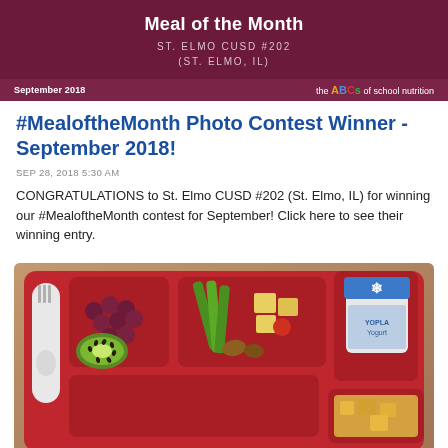[Figure (infographic): Dark maroon banner header with 'Meal of the Month' title, 'ST. ELMO CUSD #202 (ST. ELMO, IL)' subtitle, September 2018 date, and 'the ABCs of school nutrition' logo]
#MealoftheMonth Photo Contest Winner - September 2018!
SEP 28, 2018 5:30 AM
CONGRATULATIONS to St. Elmo CUSD #202 (St. Elmo, IL) for winning our #MealoftheMonth contest for September! Click here to see their winning entry.
[Figure (photo): School lunch tray photo showing a red compartmentalized tray with grapes, kiwi slice, green vegetables, cheese cubes, tomatoes, a yogurt cup with blue snowflake lid, and a hot meal compartment at the bottom right. A white plastic fork and spoon are visible on the left side.]